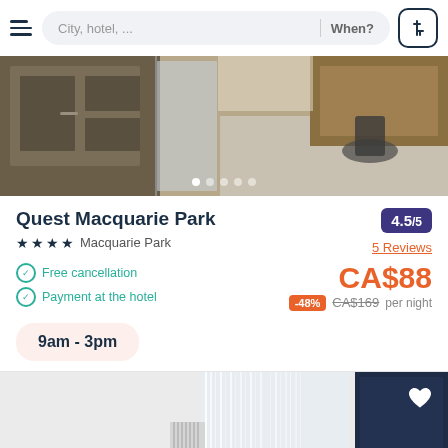[Figure (screenshot): Search bar with hamburger menu, city/hotel search field, When? label, and filter button]
[Figure (photo): Hotel interior photo showing hardwood floors, cabinets, desk and chair with carousel dots]
Quest Macquarie Park
4 stars  Macquarie Park
4.5/5
5 Reviews
Free cancellation
Payment at the hotel
CA$88
-48%  CA$169 per night
9am - 3pm
[Figure (photo): Hotel room interior showing white curtains, radiator, and dark wardrobe with heart/favorite button]